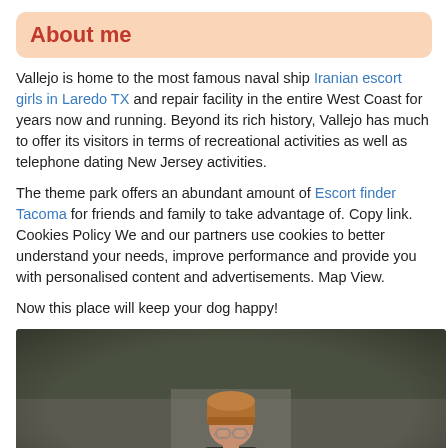About me
Vallejo is home to the most famous naval ship Iranian escort girls in Laredo TX and repair facility in the entire West Coast for years now and running. Beyond its rich history, Vallejo has much to offer its visitors in terms of recreational activities as well as telephone dating New Jersey activities.
The theme park offers an abundant amount of Escort finder Tacoma for friends and family to take advantage of. Copy link. Cookies Policy We and our partners use cookies to better understand your needs, improve performance and provide you with personalised content and advertisements. Map View.
Now this place will keep your dog happy!
[Figure (photo): A person wearing glasses and a brown/mustard beanie hat, photographed outdoors on a road or path, with a blurred background.]